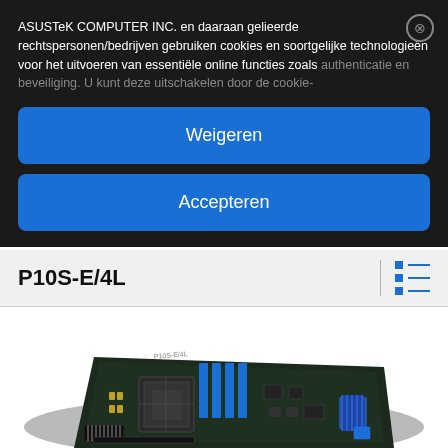ASUSTeK COMPUTER INC. en daaraan gelieerde rechtspersonen/bedrijven gebruiken cookies en soortgelijke technologieën voor het uitvoeren van essentiële online functies zoals authenticatie en beveiliging. U kunt deze uitschakelen door de cookie-
Weigeren
Accepteren
P10S-E/4L
[Figure (photo): ASUS P10S-E/4L server motherboard shown at an angle, featuring blue RAM slots, CPU socket, and various connectors on a dark PCB]